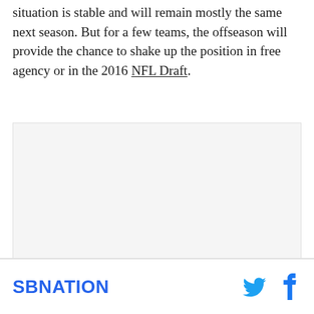For the majority of NFL teams, their quarterback situation is stable and will remain mostly the same next season. But for a few teams, the offseason will provide the chance to shake up the position in free agency or in the 2016 NFL Draft.
[Figure (other): Advertisement placeholder area with light gray background]
SBNATION [logo] with Twitter and Facebook social share icons